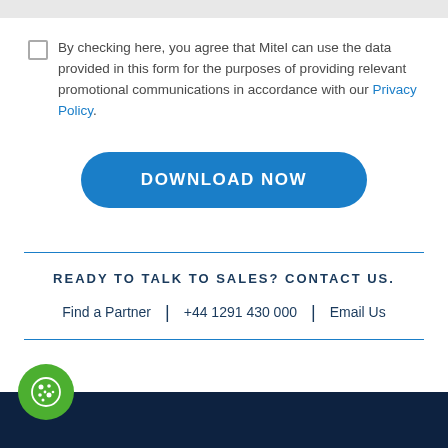By checking here, you agree that Mitel can use the data provided in this form for the purposes of providing relevant promotional communications in accordance with our Privacy Policy.
[Figure (other): Blue rounded rectangle button labeled DOWNLOAD NOW]
READY TO TALK TO SALES? CONTACT US.
Find a Partner  |  +44 1291 430 000  |  Email Us
[Figure (other): Green circular cookie consent button with cookie icon at bottom left, dark navy footer bar]